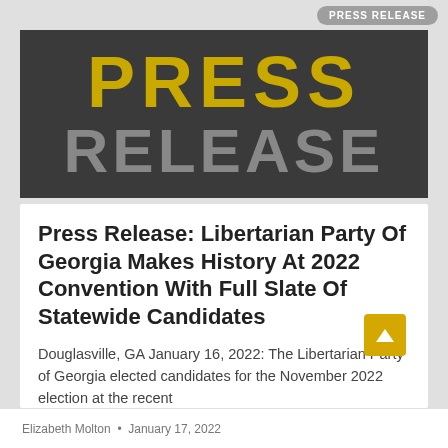PRESS RELEASE
[Figure (illustration): Press Release banner image with large yellow bold text 'PRESS' on dark background top half and large gray bold text 'RELEASE' on darker background lower half]
Press Release: Libertarian Party Of Georgia Makes History At 2022 Convention With Full Slate Of Statewide Candidates
Douglasville, GA January 16, 2022: The Libertarian Party of Georgia elected candidates for the November 2022 election at the recent
Elizabeth Molton  •  January 17, 2022